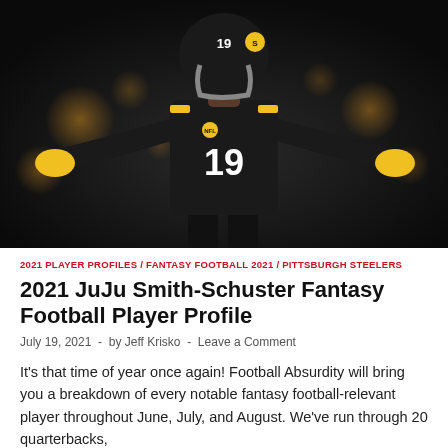[Figure (photo): Pittsburgh Steelers wide receiver #19 JuJu Smith-Schuster in black uniform with arms spread wide, dramatic arena lighting with bokeh orange/yellow lights in background]
2021 PLAYER PROFILES / FANTASY FOOTBALL 2021 / PITTSBURGH STEELERS
2021 JuJu Smith-Schuster Fantasy Football Player Profile
July 19, 2021 - by Jeff Krisko - Leave a Comment
It's that time of year once again! Football Absurdity will bring you a breakdown of every notable fantasy football-relevant player throughout June, July, and August. We've run through 20 quarterbacks,